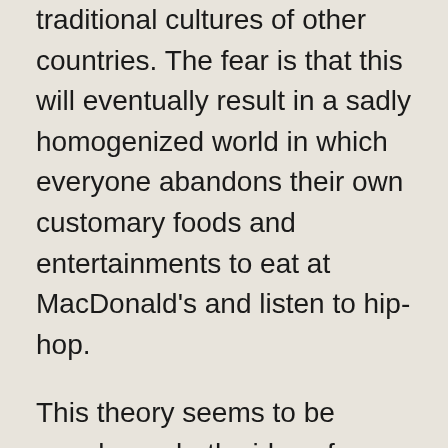traditional cultures of other countries. The fear is that this will eventually result in a sadly homogenized world in which everyone abandons their own customary foods and entertainments to eat at MacDonald's and listen to hip-hop.
This theory seems to be popular on both sides of America's own cultural divide. The liberal left worries that we are teaching the rest of the world to be destructively, mindlessly capitalistic and individualistic. A more conservative viewpoint worries that we are “exporting the wrong picture” of America, an argument